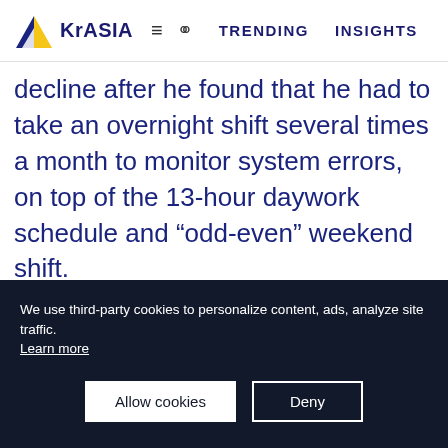KrASIA  =  Q  TRENDING  INSIGHTS
decline after he found that he had to take an overnight shift several times a month to monitor system errors, on top of the 13-hour daywork schedule and “odd-even” weekend shift.
He also does not agree with the way technologies are being applied to pursue efficiency and profits over the well-being
We use third-party cookies to personalize content, ads, analyze site traffic. Learn more
Allow cookies   Deny